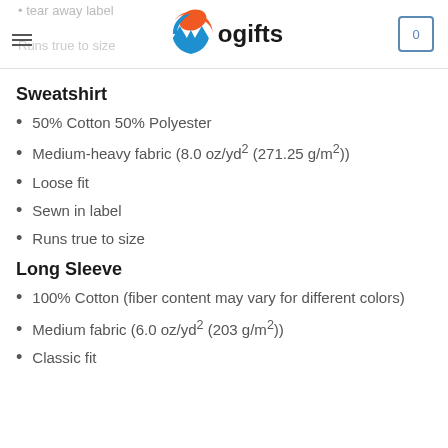wogifts
Sweatshirt
50% Cotton 50% Polyester
Medium-heavy fabric (8.0 oz/yd² (271.25 g/m²))
Loose fit
Sewn in label
Runs true to size
Long Sleeve
100% Cotton (fiber content may vary for different colors)
Medium fabric (6.0 oz/yd² (203 g/m²))
Classic fit